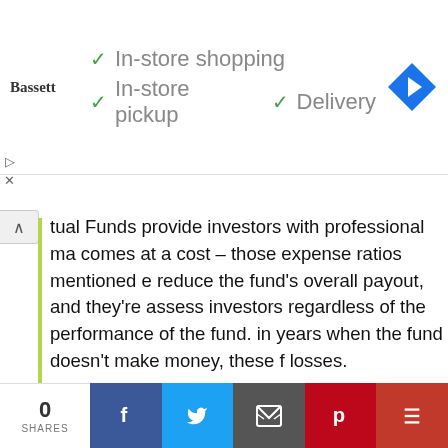[Figure (other): Advertisement banner for Bassett showing checkmarks for In-store shopping, In-store pickup, and Delivery, with a navigation arrow icon]
tual Funds provide investors with professional ma comes at a cost – those expense ratios mentioned e reduce the fund's overall payout, and they're assess investors regardless of the performance of the fund. in years when the fund doesn't make money, these f losses.
Diworsification:
Many Mutual Fund investors tend to overcomplicate they acquire too many funds that are highly related a get the risk-reducing benefits of diversification; in fac their portfolio more exposed, a syndrome called diwo
0 SHARES | Facebook | Twitter | Email | Pinterest | More